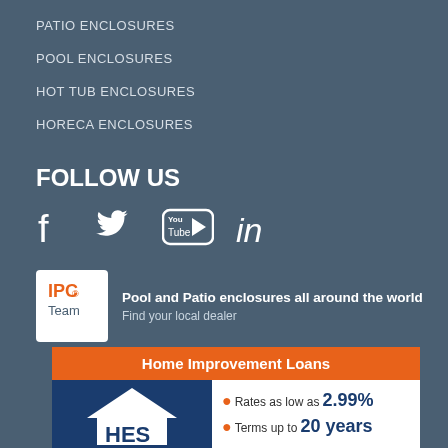PATIO ENCLOSURES
POOL ENCLOSURES
HOT TUB ENCLOSURES
HORECA ENCLOSURES
FOLLOW US
[Figure (infographic): Social media icons: Facebook, Twitter, YouTube, LinkedIn]
[Figure (logo): IPC Team logo with text: Pool and Patio enclosures all around the world. Find your local dealer.]
[Figure (infographic): Home Improvement Loans banner. Rates as low as 2.99%. Terms up to 20 years. HES logo on left.]